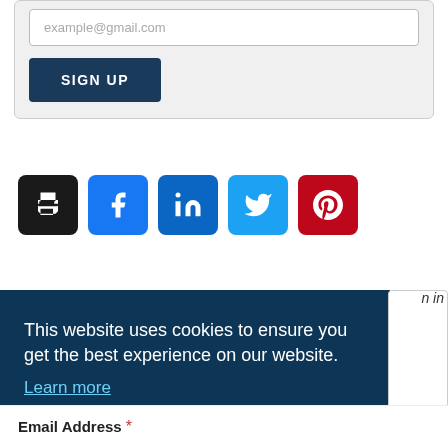example@gmail.com
SIGN UP
[Figure (other): Row of 5 social media icons: print (black), Facebook (blue), LinkedIn (dark blue), Twitter (light blue), Pinterest (red)]
This website uses cookies to ensure you get the best experience on our website.
Learn more
Got it!
n in
Email Address *